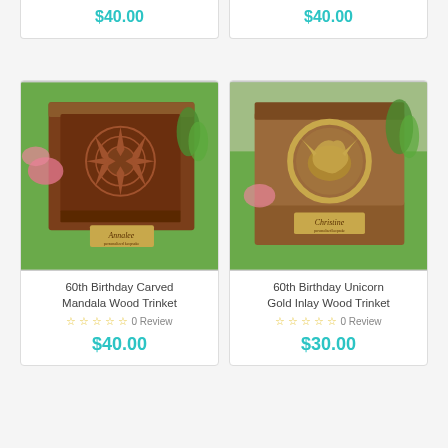$40.00
$40.00
[Figure (photo): 60th Birthday Carved Mandala Wood Trinket box with intricate carvings and a personalized brass nameplate reading 'Annalee', displayed on green grass with pink flowers]
60th Birthday Carved Mandala Wood Trinket
0 Review
$40.00
[Figure (photo): 60th Birthday Unicorn Gold Inlay Wood Trinket box with a gold circular griffin/unicorn medallion on front and personalized brass nameplate reading 'Christine', displayed on green grass]
60th Birthday Unicorn Gold Inlay Wood Trinket
0 Review
$30.00